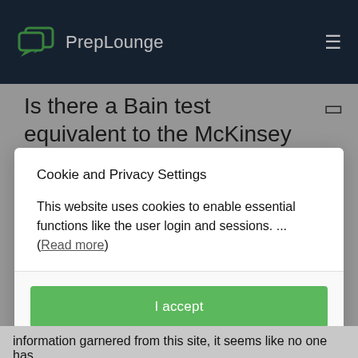PrepLounge
Is there a Bain test equivalent to the McKinsey PST and BCG
Cookie and Privacy Settings
This website uses cookies to enable essential functions like the user login and sessions. ... (Read more)
I accept
Manage settings individually
information garnered from this site, it seems like no one has